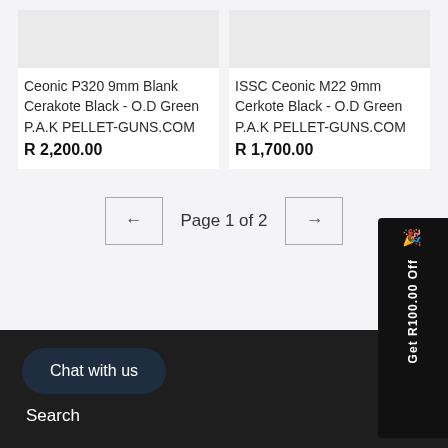Ceonic P320 9mm Blank Cerakote Black - O.D Green P.A.K PELLET-GUNS.COM
R 2,200.00
ISSC Ceonic M22 9mm Cerkote Black - O.D Green P.A.K PELLET-GUNS.COM
R 1,700.00
Page 1 of 2
Get R100.00 Off
Chat with us
Search